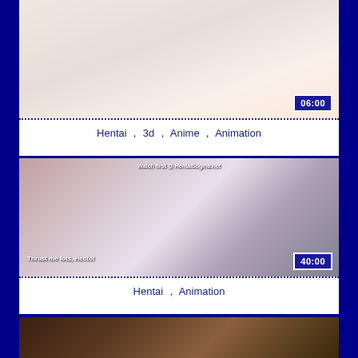[Figure (screenshot): Video thumbnail with duration badge showing 06:00]
Hentai ,  3d ,  Anime ,  Animation
[Figure (screenshot): Video thumbnail with text 'Watch first @ HentaiStigma.net' watermark, subtitle 'Thrust me lots, Hecto!' and duration badge showing 40:00]
Hentai ,  Animation
[Figure (screenshot): Partial video thumbnail at bottom of page]